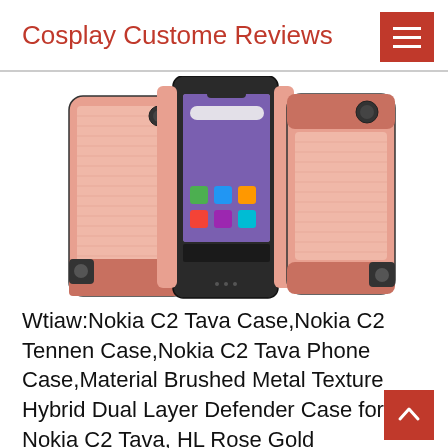Cosplay Custome Reviews
[Figure (photo): Product photo of a pink/rose gold brushed metal texture hybrid dual layer phone case for Nokia C2 Tava, shown from front and back angles]
Wtiaw:Nokia C2 Tava Case,Nokia C2 Tennen Case,Nokia C2 Tava Phone Case,Material Brushed Metal Texture Hybrid Dual Layer Defender Case for Nokia C2 Tava, HL Rose Gold